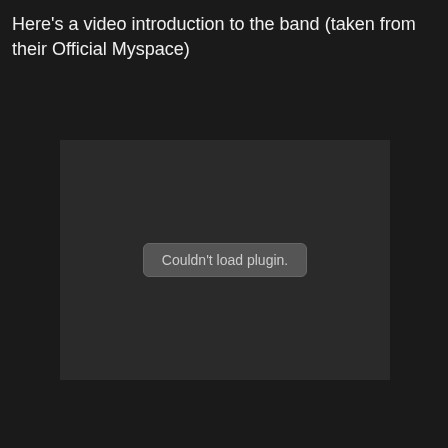Here's a video introduction to the band (taken from their Official Myspace)
[Figure (screenshot): Embedded video plugin area showing 'Couldn't load plugin.' error message on dark background]